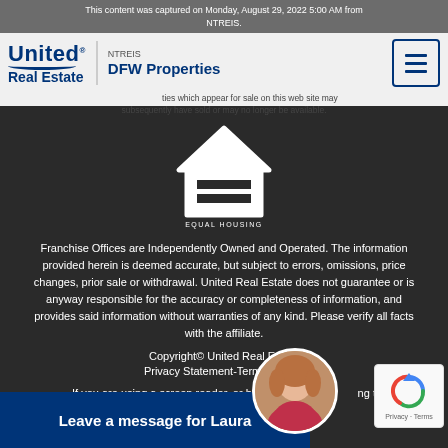This content was captured on Monday, August 29, 2022 5:00 AM from NTREIS. Properties which appear for sale on this web site may subsequently have sold or may no longer be available.
[Figure (logo): United Real Estate logo with swoosh, DFW Properties subtitle]
[Figure (logo): Equal Housing Opportunity logo - house icon with horizontal lines and text]
Franchise Offices are Independently Owned and Operated. The information provided herein is deemed accurate, but subject to errors, omissions, price changes, prior sale or withdrawal. United Real Estate does not guarantee or is anyway responsible for the accuracy or completeness of information, and provides said information without warranties of any kind. Please verify all facts with the affiliate.
Copyright© United Real Estate
Privacy Statement-Terms Of Use
If you are using a screen reader, or having trouble with this website
Leave a message for Laura